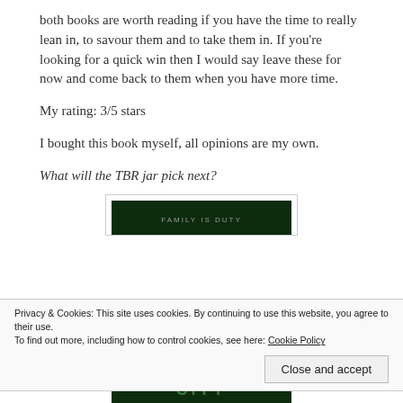both books are worth reading if you have the time to really lean in, to savour them and to take them in. If you're looking for a quick win then I would say leave these for now and come back to them when you have more time.
My rating: 3/5 stars
I bought this book myself, all opinions are my own.
What will the TBR jar pick next?
[Figure (photo): Dark green book cover with text 'FAMILY IS DUTY' visible at top]
Privacy & Cookies: This site uses cookies. By continuing to use this website, you agree to their use.
To find out more, including how to control cookies, see here: Cookie Policy
Close and accept
[Figure (photo): Dark green book cover bottom portion showing partial text]